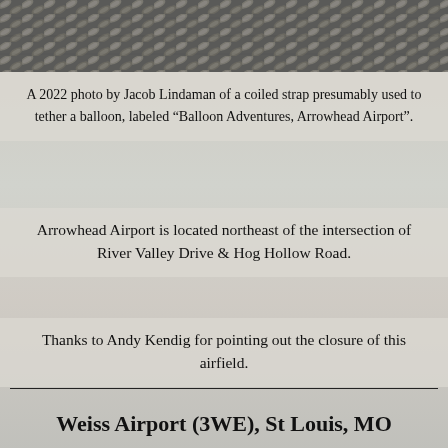[Figure (photo): A photo showing a coiled braided strap or rope, gray/dark colored, photographed from above.]
A 2022 photo by Jacob Lindaman of a coiled strap presumably used to tether a balloon, labeled “Balloon Adventures, Arrowhead Airport”.
Arrowhead Airport is located northeast of the intersection of River Valley Drive & Hog Hollow Road.
Thanks to Andy Kendig for pointing out the closure of this airfield.
Weiss Airport (3WE), St Louis, MO